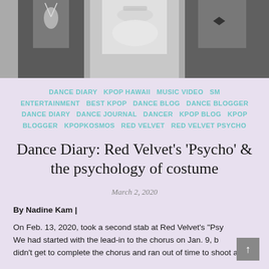[Figure (photo): Black and white photo of people in formal/elegant attire, cropped showing torsos and necks with jewelry]
DANCE DIARY  KPOP HAWAII  MUSIC VIDEO  SM ENTERTAINMENT  BEST KPOP  DANCE BLOG  DANCE BLOGGER  DANCE DIARY  DANCE JOURNAL  DANCER  KPOP BLOG  KPOP BLOGGER  KPOPKOSMOS  RED VELVET  RED VELVET PSYCHO
Dance Diary: Red Velvet's 'Psycho' & the psychology of costume
March 2, 2020
By Nadine Kam |
On Feb. 13, 2020, took a second stab at Red Velvet's "Psy... We had started with the lead-in to the chorus on Jan. 9, b... didn't get to complete the chorus and ran out of time to shoot a